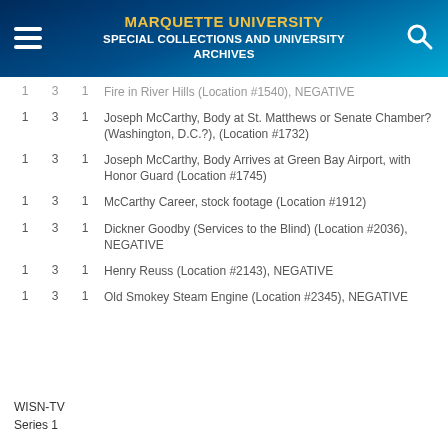MARQUETTE UNIVERSITY SPECIAL COLLECTIONS AND UNIVERSITY ARCHIVES
| Box | Folder | Item | Description |
| --- | --- | --- | --- |
| 1 | 3 | 1 | Fire in River Hills (Location #1540), NEGATIVE |
| 1 | 3 | 1 | Joseph McCarthy, Body at St. Matthews or Senate Chamber? (Washington, D.C.?), (Location #1732) |
| 1 | 3 | 1 | Joseph McCarthy, Body Arrives at Green Bay Airport, with Honor Guard (Location #1745) |
| 1 | 3 | 1 | McCarthy Career, stock footage (Location #1912) |
| 1 | 3 | 1 | Dickner Goodby (Services to the Blind) (Location #2036), NEGATIVE |
| 1 | 3 | 1 | Henry Reuss (Location #2143), NEGATIVE |
| 1 | 3 | 1 | Old Smokey Steam Engine (Location #2345), NEGATIVE |
WISN-TV
Series 1